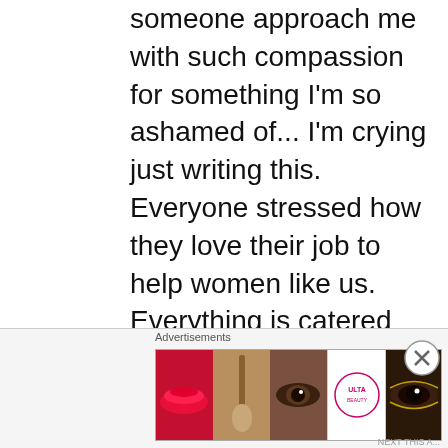someone approach me with such compassion for something I'm so ashamed of... I'm crying just writing this. Everyone stressed how they love their job to help women like us. Everything is catered so we can feel special. Every fucking detail is thought out with us in mind.

They offer group therapy. Group therapy is where I really started my healing journey in the beginning of the year, so I was looking forward to these sessions.
[Figure (screenshot): An Ulta Beauty advertisement banner showing cosmetic imagery including lips, makeup brush, eye, and Ulta logo with a SHOP NOW call to action.]